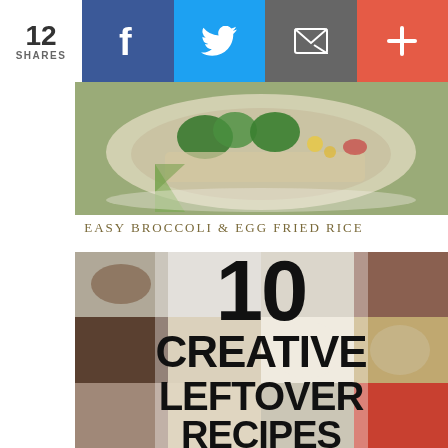12 SHARES | Facebook | Twitter | Email | +
[Figure (photo): Bowl of broccoli and egg fried rice with vegetables, top view]
EASY BROCCOLI & EGG FRIED RICE
[Figure (photo): Collage of food photos with large text overlay reading '10 CREATIVE LEFTOVER RECIPES']